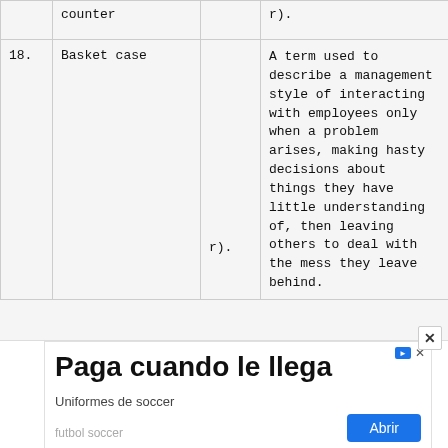| # | Term | Ref | Definition |
| --- | --- | --- | --- |
|  | counter |  | r). |
| 18. | Basket case | r). | A term used to describe a management style of interacting with employees only when a problem arises, making hasty decisions about things they have little understanding of, then leaving others to deal with the mess they leave behind. |
[Figure (other): Advertisement banner: 'Paga cuando le llega' for soccer uniforms. Subtitle: 'Uniformes de soccer'. Search text: 'futbol soccer'. Button: 'Abrir'.]